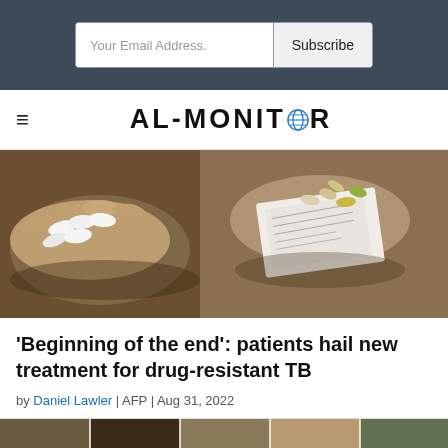Your Email Address. | Subscribe
AL-MONITOR
[Figure (photo): Hands holding pills and a medication card/document, tuberculosis treatment context]
'Beginning of the end': patients hail new treatment for drug-resistant TB
by Daniel Lawler | AFP | Aug 31, 2022
[Figure (photo): Bottom image strip, partial view of additional photos]